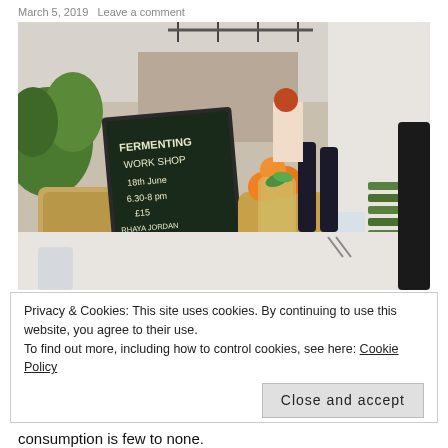March 5, 2019   Leave a comment
[Figure (photo): Interior of a cafe or restaurant kitchen counter with a chalkboard sign reading 'Fermenting Work Shop 18th June 6.30-8pm £15 Rhaya Jordan Nutritionist', a tall glass with a green garnish, wicker baskets, oranges, bottles, and staff in background.]
Privacy & Cookies: This site uses cookies. By continuing to use this website, you agree to their use.
To find out more, including how to control cookies, see here: Cookie Policy
Close and accept
consumption is few to none.